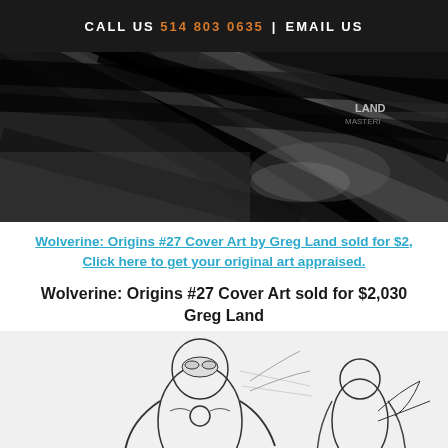CALL US 514 803 0635 | EMAIL US
[Figure (illustration): Black and white comic book cover art showing dynamic action scene with slashing lines and dramatic movement, with 'LAND' signature visible]
Wolverine: Origins #27 Cover Art by Greg Land sold for $2,030 Click here to get your original art appraised.
Wolverine: Origins #27 Cover Art sold for $2,030
Greg Land
[Figure (illustration): Black and white comic pencil art showing Iron Man and another character in action poses]